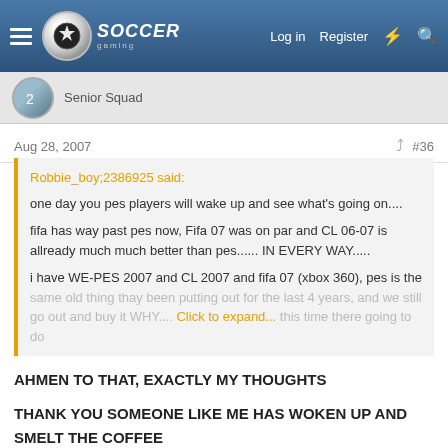Soccer Gaming — Log in | Register
Senior Squad
Aug 28, 2007  #36
Robbie_boy;2386925 said:
one day you pes players will wake up and see what's going on....
fifa has way past pes now, Fifa 07 was on par and CL 06-07 is allready much much better than pes...... IN EVERY WAY.....
i have WE-PES 2007 and CL 2007 and fifa 07 (xbox 360), pes is the same old thing thay been putting out for the last 4 years, and we still go out and buy it WHY.... Click to expand...
AHMEN TO THAT, EXACTLY MY THOUGHTS
THANK YOU SOMEONE LIKE ME HAS WOKEN UP AND SMELT THE COFFEE